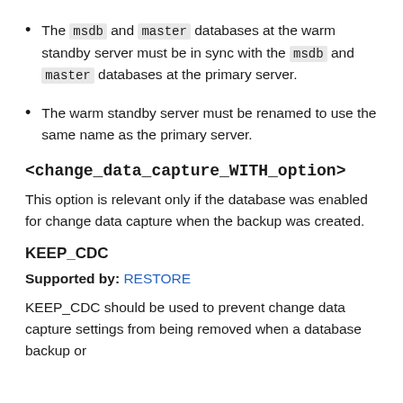The msdb and master databases at the warm standby server must be in sync with the msdb and master databases at the primary server.
The warm standby server must be renamed to use the same name as the primary server.
<change_data_capture_WITH_option>
This option is relevant only if the database was enabled for change data capture when the backup was created.
KEEP_CDC
Supported by: RESTORE
KEEP_CDC should be used to prevent change data capture settings from being removed when a database backup or